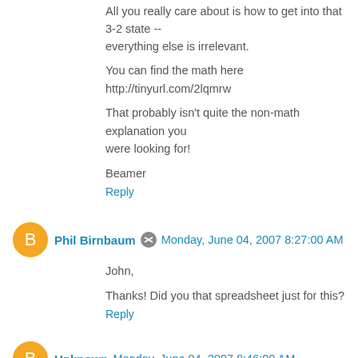All you really care about is how to get into that 3-2 state -- everything else is irrelevant.
You can find the math here
http://tinyurl.com/2lqmrw
That probably isn't quite the non-math explanation you were looking for!
Beamer
Reply
Phil Birnbaum  Monday, June 04, 2007 8:27:00 AM
John,
Thanks! Did you that spreadsheet just for this?
Reply
Unknown  Monday, June 04, 2007 8:46:00 AM